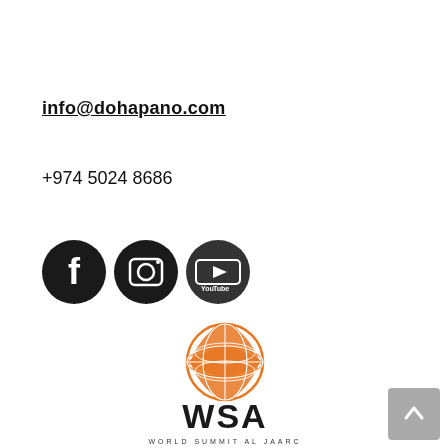info@dohapano.com
+974 5024 8686
[Figure (illustration): Three social media icons in black circles: Facebook (f), Instagram (camera), YouTube (play button with 'You Tube' text)]
[Figure (logo): WSA World Summit Al Jaddoc logo with orange globe and WSA text]